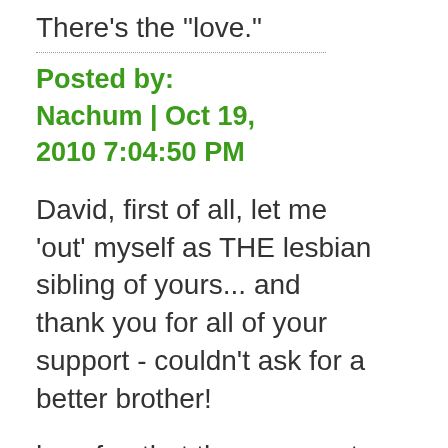There's the "love."
Posted by: Nachum | Oct 19, 2010 7:04:50 PM
David, first of all, let me 'out' myself as THE lesbian sibling of yours... and thank you for all of your support - couldn't ask for a better brother!
how fun that the comments were even more entertaining and informative than the actual post!!! And, like Weese, love the comment/conversation